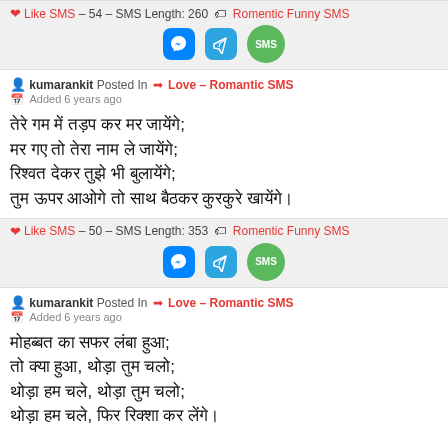Like SMS - 54 - SMS Length: 260 Romentic Funny SMS
kumarankit Posted In Love - Romantic SMS
Added 6 years ago
तेरे गम में तड़प कर मर जायेंगे;
मर गए तो तेरा नाम ले जायेंगे;
रिश्वत देकर तुझे भी बुलायेंगे;
तुम ऊपर आओगे तो साथ बैठकर कुरकुरे खायेंगे।
Like SMS - 50 - SMS Length: 353 Romentic Funny SMS
kumarankit Posted In Love - Romantic SMS
Added 6 years ago
मोहब्बत का सफर लंबा हुआ;
तो क्या हुआ, थोड़ा तुम चलो;
थोड़ा हम चले, थोड़ा तुम चलो;
थोड़ा हम चले, फिर रिक्शा कर लेंगे।